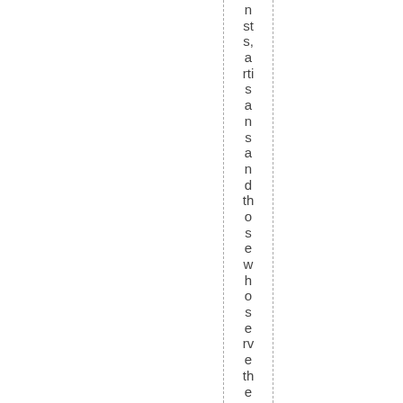sts, artisans and those who serve the